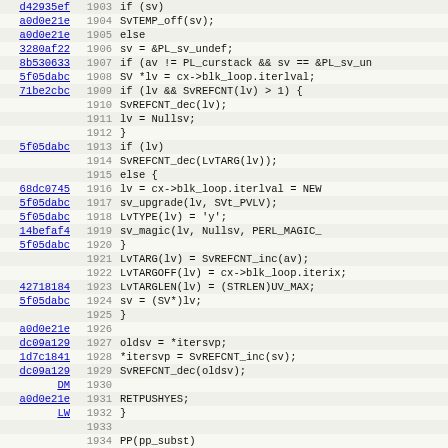[Figure (screenshot): Source code listing showing Perl/C code with line numbers 1903-1934, git commit hashes in the left column, line numbers in the middle column, and code content on the right. The code shows logic for handling sv (scalar value) operations including SvTEMP_off, SvREFCNT, LvTARG, loop iteration, and RETPUSHYES.]